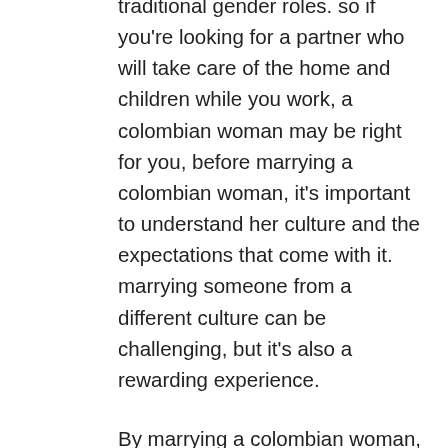traditional gender roles. so if you're looking for a partner who will take care of the home and children while you work, a colombian woman may be right for you, before marrying a colombian woman, it's important to understand her culture and the expectations that come with it. marrying someone from a different culture can be challenging, but it's also a rewarding experience.
By marrying a colombian woman, you'll be gaining a partner who is loyal, loving, and passionate about life. so if you're ready for an adventure, marrying a colombian woman may be the perfect choice for you!
Marrying a colombian woman can be an